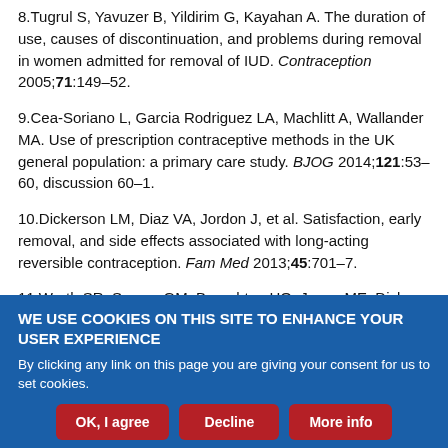8.Tugrul S, Yavuzer B, Yildirim G, Kayahan A. The duration of use, causes of discontinuation, and problems during removal in women admitted for removal of IUD. Contraception 2005;71:149–52.
9.Cea-Soriano L, Garcia Rodriguez LA, Machlitt A, Wallander MA. Use of prescription contraceptive methods in the UK general population: a primary care study. BJOG 2014;121:53–60, discussion 60–1.
10.Dickerson LM, Diaz VA, Jordon J, et al. Satisfaction, early removal, and side effects associated with long-acting reversible contraception. Fam Med 2013;45:701–7.
11.Werth SR, Secura GM, Broughton HO, Jones ME, Dickey V, Peipert JF. Contraceptive continuation in Hispanic women. Am J Obstet Gynecol 2015;212:312.e1–8.
WE USE COOKIES ON THIS SITE TO ENHANCE YOUR USER EXPERIENCE
By clicking any link on this page you are giving your consent for us to set cookies.